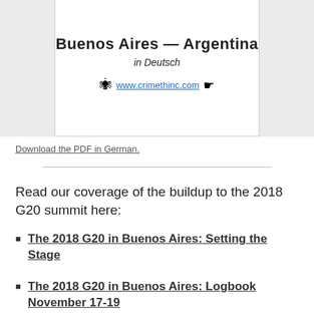[Figure (illustration): Book cover box showing title 'Buenos Aires — Argentina' in bold, subtitle 'in Deutsch' in italic, and a link www.crimethinc.com with spider and arrow icons, on white background within a grey page background]
Download the PDF in German.
Read our coverage of the buildup to the 2018 G20 summit here:
The 2018 G20 in Buenos Aires: Setting the Stage
The 2018 G20 in Buenos Aires: Logbook November 17-19
The G20 in Buenos Aires: Logbook November